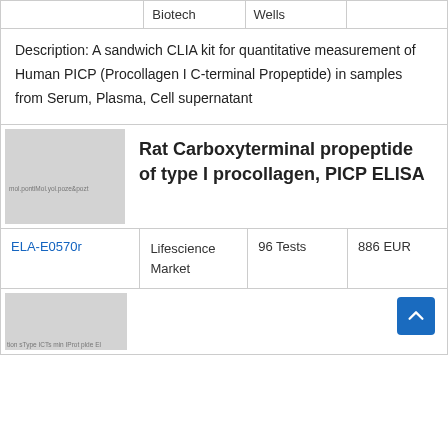|  | Biotech | Wells |  |
| --- | --- | --- | --- |
|  | Biotech | Wells |  |
Description: A sandwich CLIA kit for quantitative measurement of Human PICP (Procollagen I C-terminal Propeptide) in samples from Serum, Plasma, Cell supernatant
[Figure (photo): Product image placeholder for Rat Carboxyterminal propeptide of type I procollagen, PICP ELISA kit]
Rat Carboxyterminal propeptide of type I procollagen, PICP ELISA
| Catalog | Vendor | Quantity | Price |
| --- | --- | --- | --- |
| ELA-E0570r | Lifescience Market | 96 Tests | 886 EUR |
[Figure (photo): Partial product image at bottom of page]